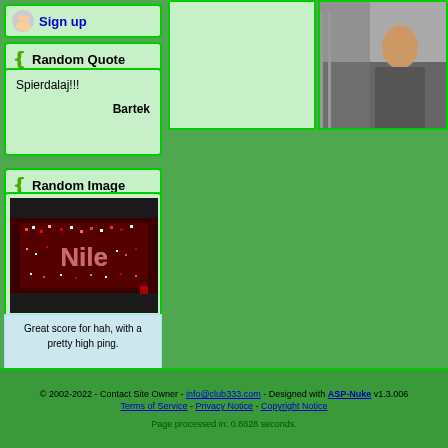Sign up
Random Quote
Spierdalaj!!!

Bartek
Random Image
[Figure (photo): Gaming screenshot showing colorful LED/pixel art display with game scores]
Great score for hah, with a pretty high ping.

V42 did good as well.

GG guys
[Figure (photo): Photo of a person, partially visible on right side]
© 2002-2022 - Contact Site Owner - info@club333.com - Designed with ASP-Nuke v1.3.006
Terms of Service - Privacy Notice - Copyright Notice

Page processed in: 0.8828 seconds.